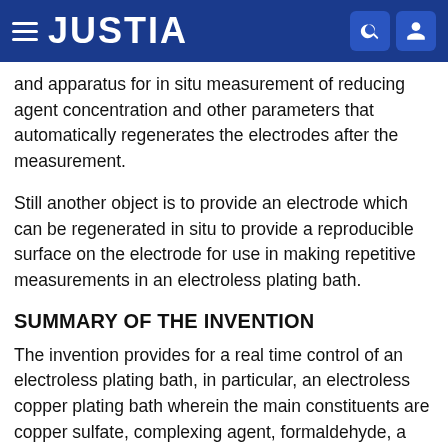JUSTIA
and apparatus for in situ measurement of reducing agent concentration and other parameters that automatically regenerates the electrodes after the measurement.
Still another object is to provide an electrode which can be regenerated in situ to provide a reproducible surface on the electrode for use in making repetitive measurements in an electroless plating bath.
SUMMARY OF THE INVENTION
The invention provides for a real time control of an electroless plating bath, in particular, an electroless copper plating bath wherein the main constituents are copper sulfate, complexing agent, formaldehyde, a hydroxide and a stabilizer. With the invention, all of the necessary constituent concentrations, and particularly